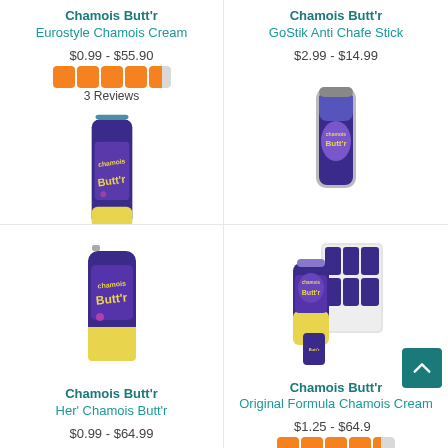[Figure (photo): Chamois Butt'r Eurostyle Chamois Cream product tube, purple and yellow packaging]
Chamois Butt'r
Eurostyle Chamois Cream
$0.99 - $55.90
[Figure (infographic): 4.5 star rating, 3 Reviews]
[Figure (photo): Chamois Butt'r GoStik Anti Chafe Stick product]
Chamois Butt'r
GoStik Anti Chafe Stick
$2.99 - $14.99
[Figure (photo): Chamois Butt'r Her' Chamois Butt'r product tube]
Chamois Butt'r
Her' Chamois Butt'r
$0.99 - $64.99
[Figure (photo): Chamois Butt'r Original Formula Chamois Cream product bundle]
Chamois Butt'r
Original Formula Chamois Cream
$1.25 - $64.99
[Figure (infographic): 4+ star rating shown partially]